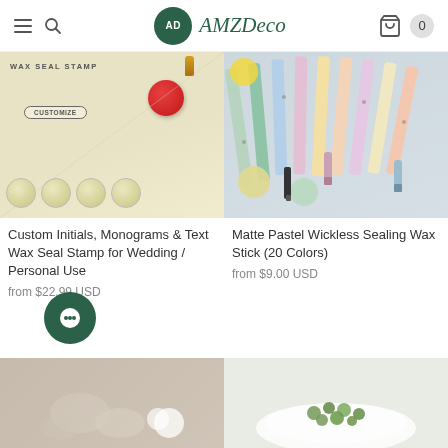AMZ Deco – navigation bar with hamburger menu, search icon, logo, brand name, cart icon and count 0
[Figure (photo): Product image of a custom wax seal stamp showing a red wax seal on an envelope, with a customize badge and sample seal coins at the bottom]
Custom Initials, Monograms & Text Wax Seal Stamp for Wedding / Personal Use
from $22.99 USD
[Figure (photo): Product image of matte pastel wickless sealing wax sticks in assorted colors arranged on a surface with small wax stamp tools]
Matte Pastel Wickless Sealing Wax Stick (20 Colors)
from $9.00 USD
[Figure (photo): Partial product image at the bottom-left showing fabric or lace texture with white flowers]
[Figure (photo): Partial product image at the bottom-right showing green sealing wax beads in a white dish]